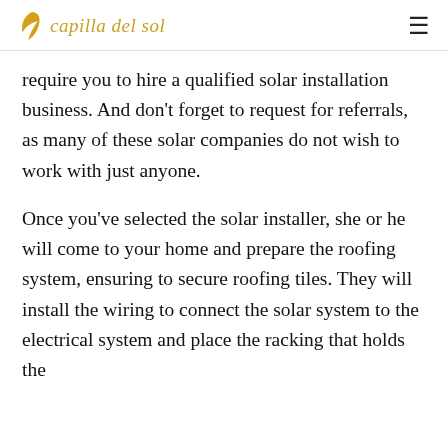capilla del sol
require you to hire a qualified solar installation business. And don't forget to request for referrals, as many of these solar companies do not wish to work with just anyone.
Once you've selected the solar installer, she or he will come to your home and prepare the roofing system, ensuring to secure roofing tiles. They will install the wiring to connect the solar system to the electrical system and place the racking that holds the